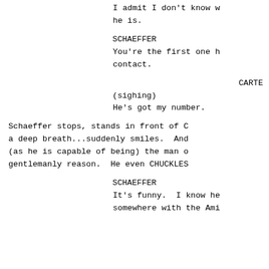I admit I don't know wh
he is.
SCHAEFFER
You're the first one he
contact.
CARTE
(sighing)
He's got my number.
Schaeffer stops, stands in front of Ca
a deep breath...suddenly smiles.  And
(as he is capable of being) the man o
gentlemanly reason.  He even CHUCKLES
SCHAEFFER
It's funny.  I know he
somewhere with the Ami: